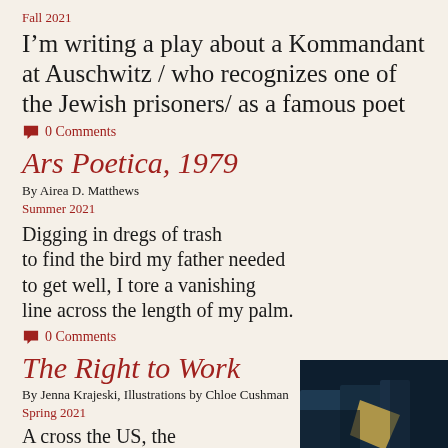Fall 2021
I'm writing a play about a Kommandant at Auschwitz / who recognizes one of the Jewish prisoners/ as a famous poet
💬 0 Comments
Ars Poetica, 1979
By Airea D. Matthews
Summer 2021
Digging in dregs of trash
to find the bird my father needed
to get well, I tore a vanishing
line across the length of my palm.
💬 0 Comments
The Right to Work
By Jenna Krajeski, Illustrations by Chloe Cushman
Spring 2021
A cross the US, the...
[Figure (photo): Dark image showing figures in blue/dark clothing with a geometric shape, illustration style]